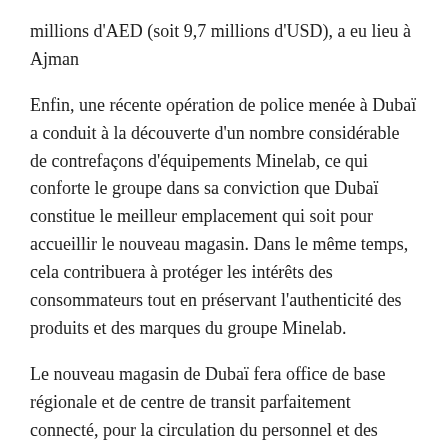millions d'AED (soit 9,7 millions d'USD), a eu lieu à Ajman
Enfin, une récente opération de police menée à Dubaï a conduit à la découverte d'un nombre considérable de contrefaçons d'équipements Minelab, ce qui conforte le groupe dans sa conviction que Dubaï constitue le meilleur emplacement qui soit pour accueillir le nouveau magasin. Dans le même temps, cela contribuera à protéger les intérêts des consommateurs tout en préservant l'authenticité des produits et des marques du groupe Minelab.
Le nouveau magasin de Dubaï fera office de base régionale et de centre de transit parfaitement connecté, pour la circulation du personnel et des produits Minelab à travers l'Afrique, et garantira que les produits sont accessibles aux clients Minelab.
« Ce nouvel établissement constitue un développement